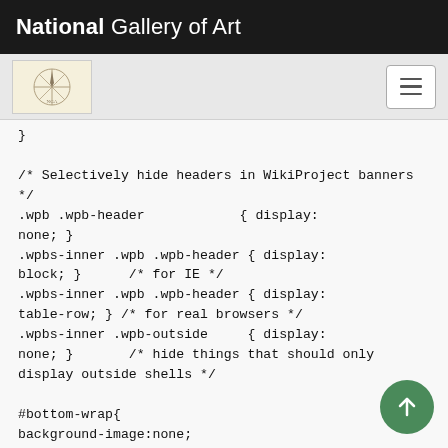National Gallery of Art
[Figure (logo): Navigation bar with National Gallery of Art compass-like logo icon on left and hamburger menu button on right]
}

/* Selectively hide headers in WikiProject banners */
.wpb .wpb-header             { display: none; }
.wpbs-inner .wpb .wpb-header { display: block; }      /* for IE */
.wpbs-inner .wpb .wpb-header { display: table-row; } /* for real browsers */
.wpbs-inner .wpb-outside     { display: none; }       /* hide things that should only display outside shells */

#bottom-wrap{
background-image:none;
background-color:#FFF;